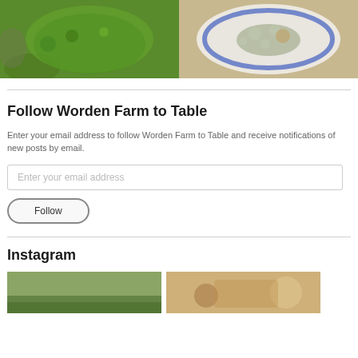[Figure (photo): Two food photos side by side: left shows a bowl of green herb sauce (chimichurri or pesto), right shows a white bowl with blue rim containing soup with beans and greens]
Follow Worden Farm to Table
Enter your email address to follow Worden Farm to Table and receive notifications of new posts by email.
Enter your email address
Follow
Instagram
[Figure (photo): Two Instagram photo thumbnails: left shows a landscape/field, right shows food ingredients]